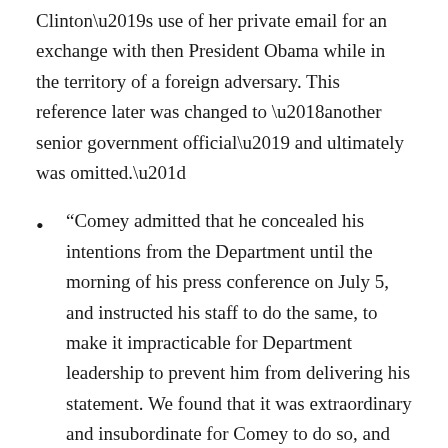Clinton’s use of her private email for an exchange with then President Obama while in the territory of a foreign adversary. This reference later was changed to ‘another senior government official’ and ultimately was omitted.”
“Comey admitted that he concealed his intentions from the Department until the morning of his press conference on July 5, and instructed his staff to do the same, to make it impracticable for Department leadership to prevent him from delivering his statement. We found that it was extraordinary and insubordinate for Comey to do so, and we found none of his reasons to be a persuasive basis for deviating from well-established Department policies in a way intentionally designed to avoid